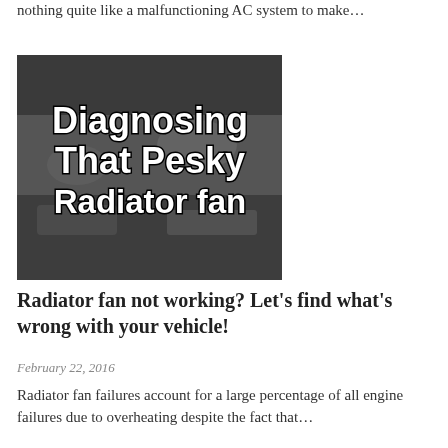nothing quite like a malfunctioning AC system to make…
[Figure (photo): Car engine bay photo with bold white text overlay reading 'Diagnosing That Pesky Radiator fan']
Radiator fan not working? Let's find what's wrong with your vehicle!
February 22, 2016
Radiator fan failures account for a large percentage of all engine failures due to overheating despite the fact that…